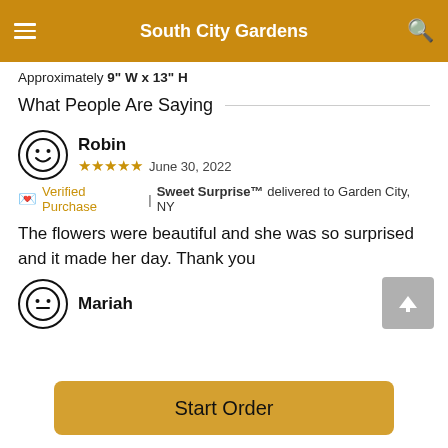South City Gardens
Approximately 9" W x 13" H
What People Are Saying
Robin
★★★★★ June 30, 2022
🌸 Verified Purchase | Sweet Surprise™ delivered to Garden City, NY
The flowers were beautiful and she was so surprised and it made her day. Thank you
Mariah